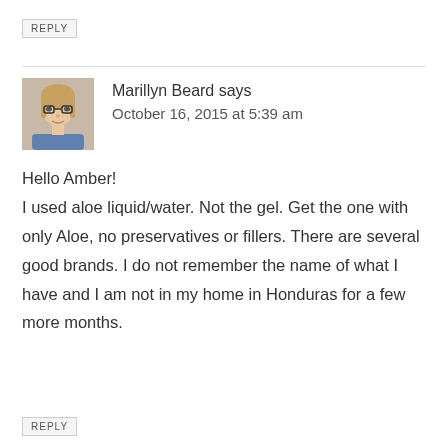REPLY
[Figure (photo): Avatar photo of Marillyn Beard, a woman with glasses]
Marillyn Beard says
October 16, 2015 at 5:39 am
Hello Amber!
I used aloe liquid/water. Not the gel. Get the one with only Aloe, no preservatives or fillers. There are several good brands. I do not remember the name of what I have and I am not in my home in Honduras for a few more months.
REPLY